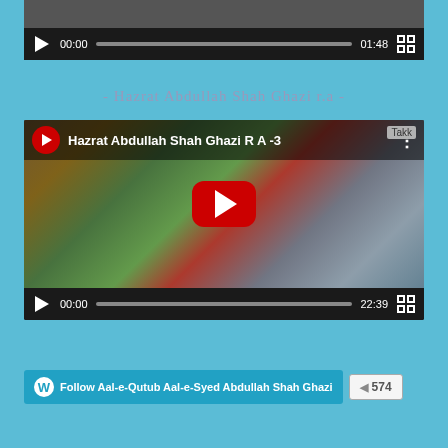[Figure (screenshot): Video player showing top portion with controls: play button, 00:00 timestamp, progress bar, 01:48 duration, fullscreen button on dark background]
- Hazrat Abdullah Shah Ghazi r.a -
[Figure (screenshot): YouTube embedded video player for 'Hazrat Abdullah Shah Ghazi R A -3' showing an elderly bearded man in orange clothing, with a large red YouTube play button in center, video controls showing 00:00 and 22:39 duration, Takk watermark]
Follow Aal-e-Qutub Aal-e-Syed Abdullah Shah Ghazi  574